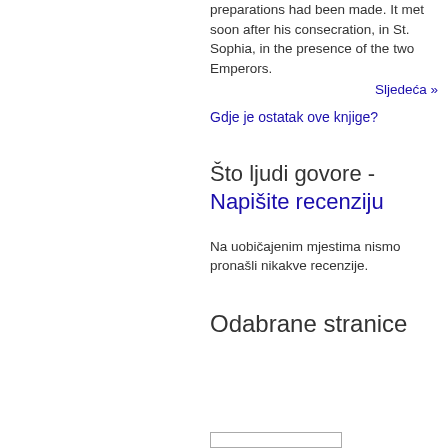preparations had been made. It met soon after his consecration, in St. Sophia, in the presence of the two Emperors.
Sljedeća »
Gdje je ostatak ove knjige?
Što ljudi govore - Napišite recenziju
Na uobičajenim mjestima nismo pronašli nikakve recenzije.
Odabrane stranice